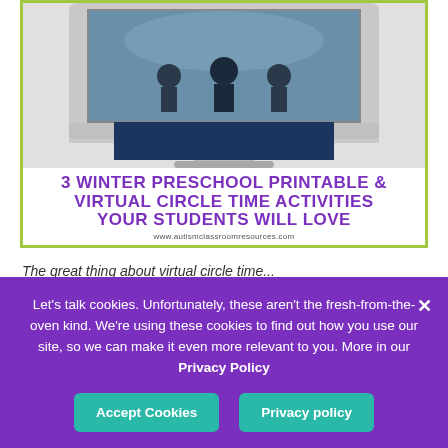[Figure (illustration): Blog post thumbnail showing an iMac computer monitor with a winter scene on screen, a dark navy rectangle below the monitor, bold purple title text '3 WINTER PRESCHOOL PRINTABLE & VIRTUAL CIRCLE TIME ACTIVITIES YOUR STUDENTS WILL LOVE', and website URL www.autismclassroomresources.com, all inside a lime-green border]
The great thing about virtual circle time...
Let's talk cookies. Unfortunately, these aren't the fresh-from-the-oven kind. We're using these cookies to find out how you use our site, so we can make it even more relevant to you. More in our Privacy Policy